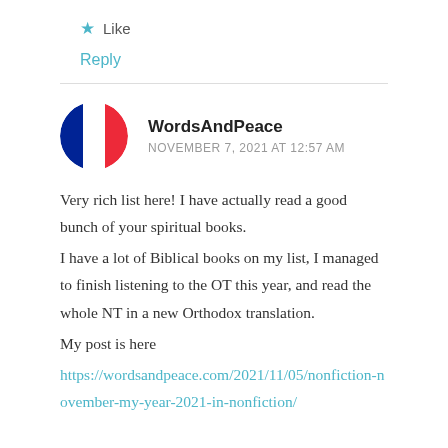★ Like
Reply
WordsAndPeace
NOVEMBER 7, 2021 AT 12:57 AM
Very rich list here! I have actually read a good bunch of your spiritual books.
I have a lot of Biblical books on my list, I managed to finish listening to the OT this year, and read the whole NT in a new Orthodox translation.
My post is here
https://wordsandpeace.com/2021/11/05/nonfiction-november-my-year-2021-in-nonfiction/